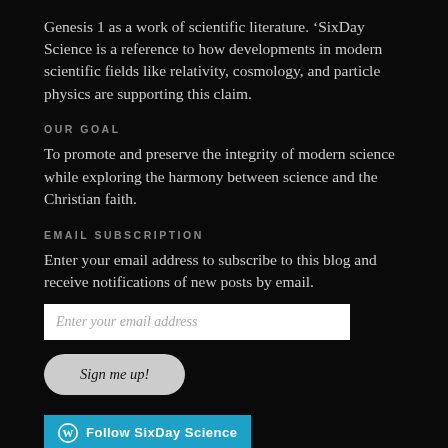Genesis 1 as a work of scientific literature. 'SixDay Science is a reference to how developments in modern scientific fields like relativity, cosmology, and particle physics are supporting this claim.
OUR GOAL
To promote and preserve the integrity of modern science while exploring the harmony between science and the Christian faith.
EMAIL SUBSCRIPTION
Enter your email address to subscribe to this blog and receive notifications of new posts by email.
Enter your email address
Sign me up!
Follow SixDay Science
Search
FOLLOW ME ON TWITTER